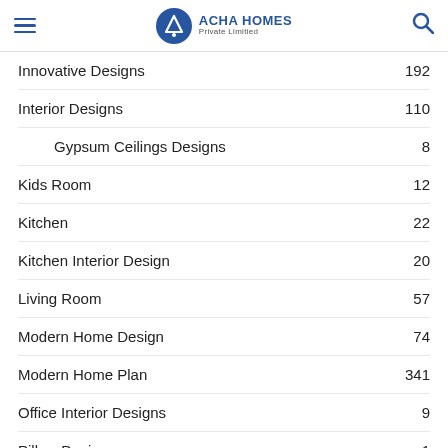Acha Homes Private Limitied
Innovative Designs 192
Interior Designs 110
Gypsum Ceilings Designs 8
Kids Room 12
Kitchen 22
Kitchen Interior Design 20
Living Room 57
Modern Home Design 74
Modern Home Plan 341
Office Interior Designs 9
Pillow Design 1
Shaver Design Ideas 1
Showroom Interior Designs 9